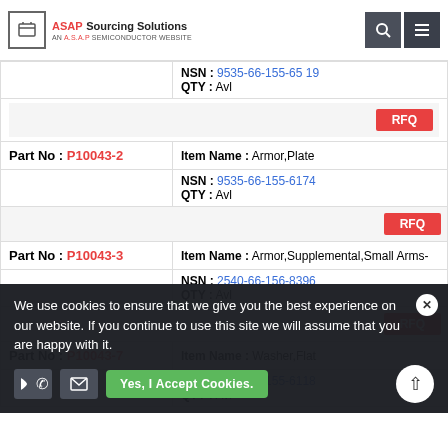ASAP Sourcing Solutions - AN A.S.A.P SEMICONDUCTOR WEBSITE
| Part No | Details |
| --- | --- |
| P10043-2 (partial top) | NSN: 9535-66-155-6174 | QTY: Avl | RFQ |
| Part No: P10043-2 | Item Name: Armor,Plate | NSN: 9535-66-155-6174 | QTY: Avl | RFQ |
| Part No: P10043-3 | Item Name: Armor,Supplemental,Small Arms- | NSN: 2540-66-156-8396 | QTY: Avl | RFQ |
| Part No: P10043-7 (partial) | Item Name: Washer,Flat (partial) | NSN: 5310-66-155-6118 (partial) | QTY: Avl (partial) |
We use cookies to ensure that we give you the best experience on our website. If you continue to use this site we will assume that you are happy with it.